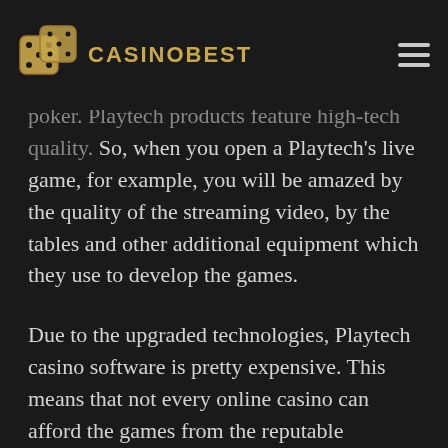CASINOBEST
poker. Playtech products feature high-tech quality. So, when you open a Playtech's live game, for example, you will be amazed by the quality of the streaming video, by the tables and other additional equipment which they use to develop the games.
Due to the upgraded technologies, Playtech casino software is pretty expensive. This means that not every online casino can afford the games from the reputable provider. Therefore, our recommended online casinos provide players of the sites with gaming experiences that will be remembered for fair and high-quality play. And once you join a Playtech casino on mobile, you will be surrounded by the awesome mobile gaming experience, just as high-quality items as its desktop experience.